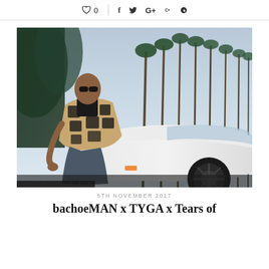♡ 0  |  f  𝕥  G+  𝒫
[Figure (photo): Man wearing sunglasses and a tan/black plaid jacket leaning against a white sports car (Lamborghini), with palm trees and a blue sky in the background.]
5TH NOVEMBER 2017
bachoeMAN x TYGA x Tears of